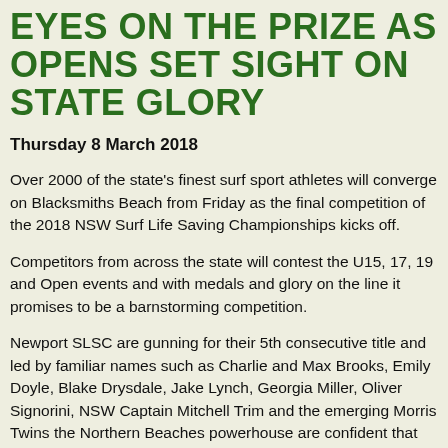EYES ON THE PRIZE AS OPENS SET SIGHT ON STATE GLORY
Thursday 8 March 2018
Over 2000 of the state's finest surf sport athletes will converge on Blacksmiths Beach from Friday as the final competition of the 2018 NSW Surf Life Saving Championships kicks off.
Competitors from across the state will contest the U15, 17, 19 and Open events and with medals and glory on the line it promises to be a barnstorming competition.
Newport SLSC are gunning for their 5th consecutive title and led by familiar names such as Charlie and Max Brooks, Emily Doyle, Blake Drysdale, Jake Lynch, Georgia Miller, Oliver Signorini, NSW Captain Mitchell Trim and the emerging Morris Twins the Northern Beaches powerhouse are confident that they have the talent to once again sit on top of the standings.
They won't have it all their own way with fierce rivals Manly boasting their own formidable line-up with Naomi Scott, Jay Furniss, and Kendrick Louis in strong form.